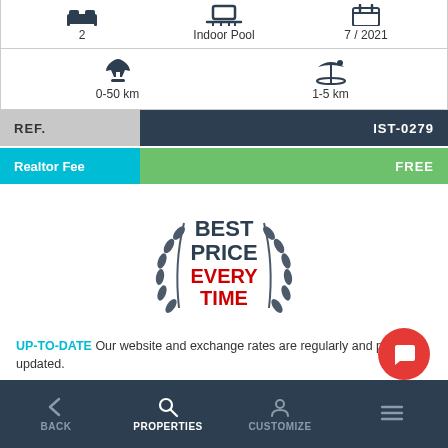2   Indoor Pool   7 / 2021
0-50 km   1-5 km
| REF. | IST-0279 |
| --- | --- |
| Realtor Fee | FREE |
| --- | --- |
[Figure (illustration): Best Price Every Time badge with laurel wreath]
UP-TO-DATE Our website and exchange rates are regularly and precisely updated.
NO DOUBT We believe that “Honesty is the best policy”. What you see is what you get.
WE GUARANTEE We always offer you the best price gua...
BACK   PROPERTIES   CUSTOMIZE   ≡